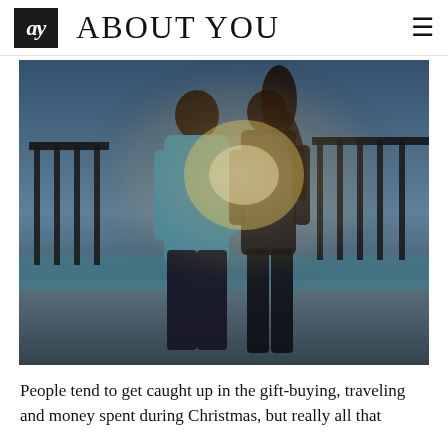ay ABOUT YOU
[Figure (photo): A couple embracing outdoors at sunset near a railing/bridge, man in blue shirt, woman in dark jacket, backlit with golden light]
People tend to get caught up in the gift-buying, traveling and money spent during Christmas, but really all that